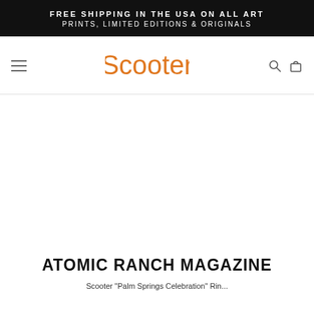FREE SHIPPING IN THE USA ON ALL ART PRINTS, LIMITED EDITIONS & ORIGINALS
[Figure (logo): Scooter logo in orange cursive font with hamburger menu icon on left and search/cart icons on right]
ATOMIC RANCH MAGAZINE
Scooter "Palm Springs Celebration" Pin...